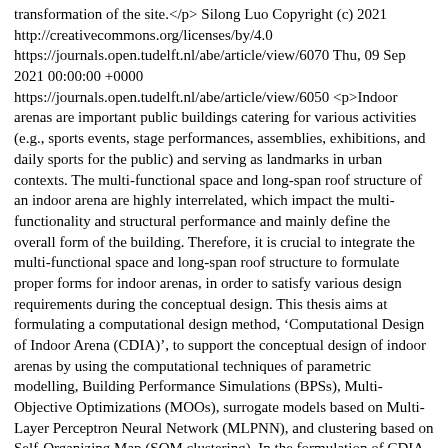transformation of the site.</p> Silong Luo Copyright (c) 2021 http://creativecommons.org/licenses/by/4.0 https://journals.open.tudelft.nl/abe/article/view/6070 Thu, 09 Sep 2021 00:00:00 +0000 https://journals.open.tudelft.nl/abe/article/view/6050 <p>Indoor arenas are important public buildings catering for various activities (e.g., sports events, stage performances, assemblies, exhibitions, and daily sports for the public) and serving as landmarks in urban contexts. The multi-functional space and long-span roof structure of an indoor arena are highly interrelated, which impact the multi-functionality and structural performance and mainly define the overall form of the building. Therefore, it is crucial to integrate the multi-functional space and long-span roof structure to formulate proper forms for indoor arenas, in order to satisfy various design requirements during the conceptual design. This thesis aims at formulating a computational design method, 'Computational Design of Indoor Arena (CDIA)', to support the conceptual design of indoor arenas by using the computational techniques of parametric modelling, Building Performance Simulations (BPSs), Multi-Objective Optimizations (MOOs), surrogate models based on Multi-Layer Perceptron Neural Network (MLPNN), and clustering based on Self-Organizing Map (SOM clustering). In the formulation of CDIA, these techniques are modified, improved and organized into five components and three workflows, to satisfy the demands of the conceptual design of indoor arenas.</p> Wang Pan Copyright (c) 2021 http://creativecommons.org/licenses/by/4.0